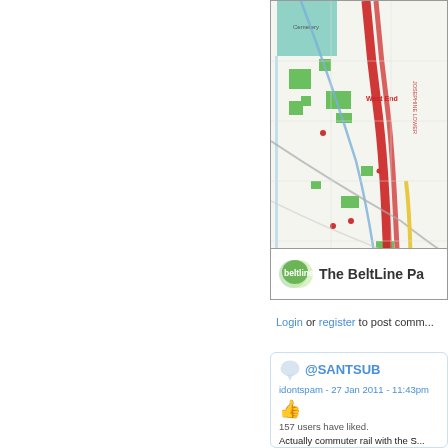[Figure (map): Partial view of the Atlanta BeltLine map showing green spaces, rail lines (red corridor), roads, and neighborhood labels including Fort McPherson and West End. The map has a light green border/background.]
[Figure (logo): BeltLine logo: green speech-bubble circle with 'beltline' text in white, followed by 'The BeltLine Pa...' (truncated) on white background.]
Login or register to post comm...
@SANTSUB
idontspam - 27 Jan 2011 - 11:43pm
157 users have liked.
Actually commuter rail with the S... circular rail. This term remained...